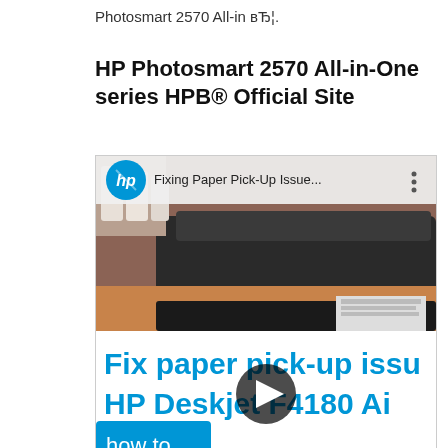Photosmart 2570 All-in вЂ¦.
HP Photosmart 2570 All-in-One series HPB® Official Site
[Figure (screenshot): YouTube video thumbnail showing an HP printer with title 'Fixing Paper Pick-Up Issue...' and overlay text 'Fix paper pick-up issu HP Deskjet F4180 Ai' with a play button and 'how to' label in blue box]